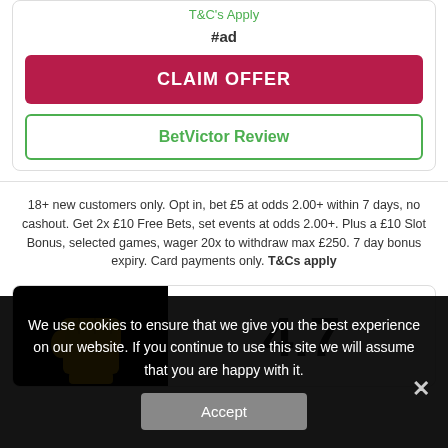T&C's Apply
#ad
CLAIM OFFER
BetVictor Review
18+ new customers only. Opt in, bet £5 at odds 2.00+ within 7 days, no cashout. Get 2x £10 Free Bets, set events at odds 2.00+. Plus a £10 Slot Bonus, selected games, wager 20x to withdraw max £250. 7 day bonus expiry. Card payments only. T&Cs apply
[Figure (logo): Yellow fist logo on black background]
4.7
We use cookies to ensure that we give you the best experience on our website. If you continue to use this site we will assume that you are happy with it.
Accept